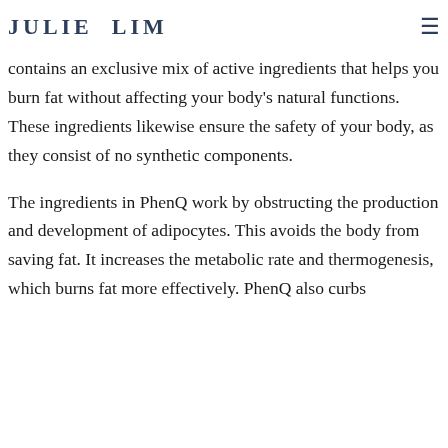JULIE LIM
contains an exclusive mix of active ingredients that helps you burn fat without affecting your body's natural functions. These ingredients likewise ensure the safety of your body, as they consist of no synthetic components.
The ingredients in PhenQ work by obstructing the production and development of adipocytes. This avoids the body from saving fat. It increases the metabolic rate and thermogenesis, which burns fat more effectively. PhenQ also curbs